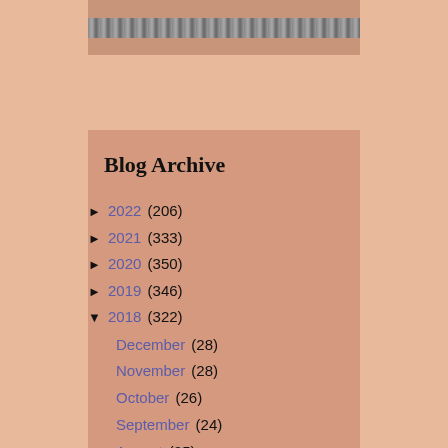[Figure (photo): A partially visible image strip at the top of the panel with muted gray tones]
Blog Archive
► 2022 (206)
► 2021 (333)
► 2020 (350)
► 2019 (346)
▼ 2018 (322)
December (28)
November (28)
October (26)
September (24)
August (25)
July (28)
June (30)
May (27)